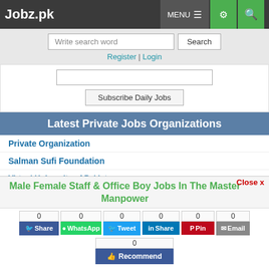Jobz.pk
Write search word | Search
Register | Login
Subscribe Daily Jobs
Latest Private Jobs Organizations
Private Organization
Salman Sufi Foundation
Virtual University of Pakistan
Male Female Staff & Office Boy Jobs In The Master Manpower
0 Share | 0 WhatsApp | 0 Tweet | 0 Share | 0 Pin | 0 Email
0 Recommend
Job Closed | Save | Comment | Print
Arsam Paper Mills